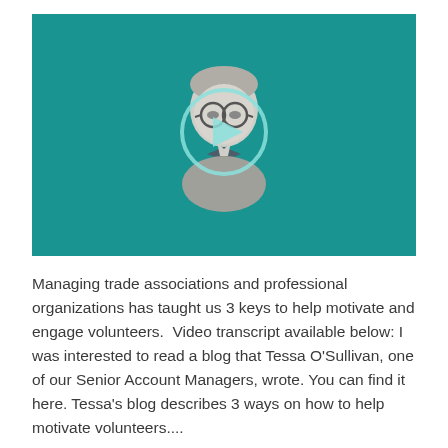[Figure (screenshot): A video thumbnail with a teal/dark cyan background showing a grayscale illustrated figure of a person wearing glasses and a bow tie, with a semi-transparent circular play button overlaid on the figure.]
Managing trade associations and professional organizations has taught us 3 keys to help motivate and engage volunteers.  Video transcript available below: I was interested to read a blog that Tessa O'Sullivan, one of our Senior Account Managers, wrote. You can find it here. Tessa's blog describes 3 ways on how to help motivate volunteers....